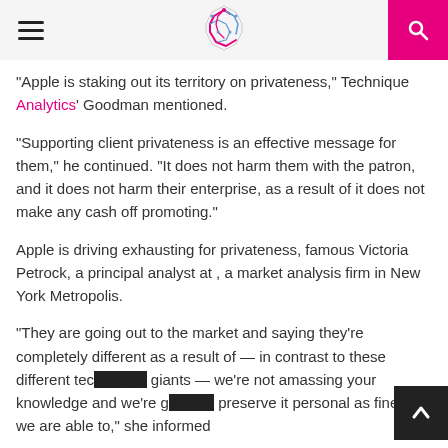[hamburger menu] [C logo] [search]
“Apple is staking out its territory on privateness,” Technique Analytics’ Goodman mentioned.
“Supporting client privateness is an effective message for them,” he continued. “It does not harm them with the patron, and it does not harm their enterprise, as a result of it does not make any cash off promoting.”
Apple is driving exhausting for privateness, famous Victoria Petrock, a principal analyst at , a market analysis firm in New York Metropolis.
“They are going out to the market and saying they’re completely different as a result of — in contrast to these different tec… giants — we’re not amassing your knowledge and we’re go… preserve it personal as finest we are able to,” she informed